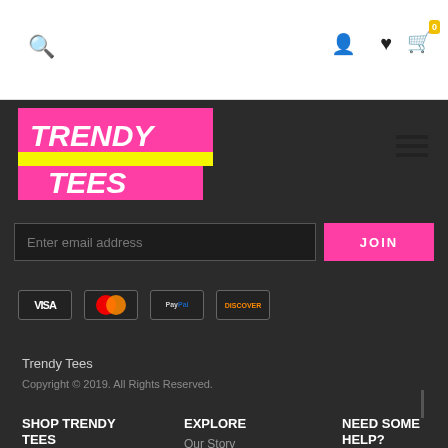Trendy Tees website header with search, account, wishlist, and cart icons
[Figure (logo): Trendy Tees logo with pink and yellow background, italic white text]
Enter email address
JOIN
[Figure (other): Payment icons: Visa, Mastercard, PayPal, Discover]
Trendy Tees
Copyright © 2019. All Rights Reserved.
SHOP TRENDY TEES
Women's Tees
EXPLORE
Our Story
Why Shop with Us?
NEED SOME HELP?
Terms & Conditions